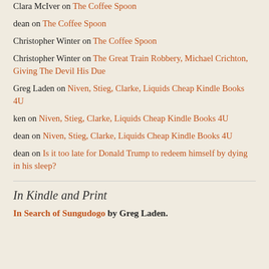Clara McIver on The Coffee Spoon
dean on The Coffee Spoon
Christopher Winter on The Coffee Spoon
Christopher Winter on The Great Train Robbery, Michael Crichton, Giving The Devil His Due
Greg Laden on Niven, Stieg, Clarke, Liquids Cheap Kindle Books 4U
ken on Niven, Stieg, Clarke, Liquids Cheap Kindle Books 4U
dean on Niven, Stieg, Clarke, Liquids Cheap Kindle Books 4U
dean on Is it too late for Donald Trump to redeem himself by dying in his sleep?
In Kindle and Print
In Search of Sungudogo by Greg Laden.